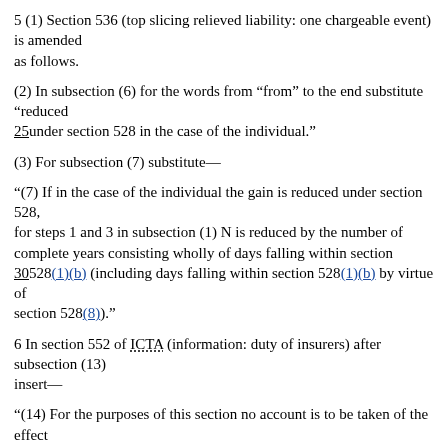5 (1) Section 536 (top slicing relieved liability: one chargeable event) is amended as follows.
(2) In subsection (6) for the words from “from” to the end substitute “reduced 25under section 528 in the case of the individual.”
(3) For subsection (7) substitute—
“(7) If in the case of the individual the gain is reduced under section 528, for steps 1 and 3 in subsection (1) N is reduced by the number of complete years consisting wholly of days falling within section 30528(1)(b) (including days falling within section 528(1)(b) by virtue of section 528(8)).”
6 In section 552 of ICTA (information: duty of insurers) after subsection (13) insert—
“(14) For the purposes of this section no account is to be taken of the effect 35of sections 528 and 528A of ITTOIA 2005.”